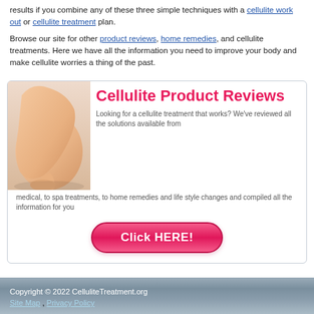results if you combine any of these three simple techniques with a cellulite work out or cellulite treatment plan.
Browse our site for other product reviews, home remedies, and cellulite treatments. Here we have all the information you need to improve your body and make cellulite worries a thing of the past.
[Figure (illustration): Advertisement box with image of woman's legs on left, large pink 'Cellulite Product Reviews' heading, descriptive text, and a pink 'Click HERE!' button]
Copyright © 2022 CelluliteTreatment.org
Site Map , Privacy Policy